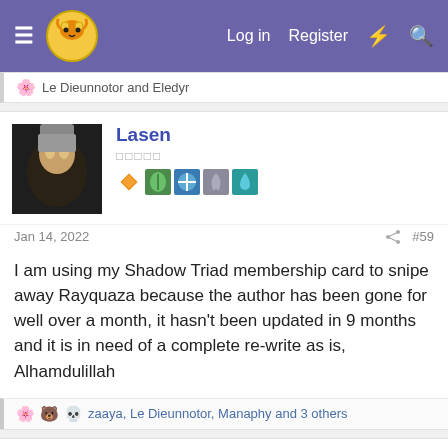Log in  Register
Le Dieunnotor and Eledyr
Lasen
□□□□□
Jan 14, 2022  #59
I am using my Shadow Triad membership card to snipe away Rayquaza because the author has been gone for well over a month, it hasn't been updated in 9 months and it is in need of a complete re-write as is, Alhamdulillah
zaaya, Le Dieunnotor, Manaphy and 3 others
Manaphy
STILL lookin for Japanese QT 3.14 GF